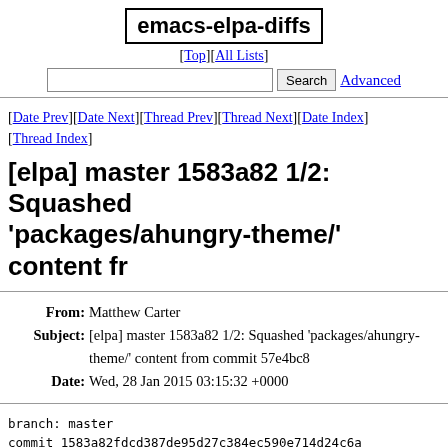emacs-elpa-diffs
[Top][All Lists]
Search  Advanced
[Date Prev][Date Next][Thread Prev][Thread Next][Date Index][Thread Index]
[elpa] master 1583a82 1/2: Squashed 'packages/ahungry-theme/' content fr
From: Matthew Carter
Subject: [elpa] master 1583a82 1/2: Squashed 'packages/ahungry-theme/' content from commit 57e4bc8
Date: Wed, 28 Jan 2015 03:15:32 +0000
branch: master
commit 1583a82fdcd387de95d27c384ec590e714d24c6a
Author: Matthew Carter <address@hidden>
Commit: Matthew Carter <address@hidden>

    Squashed 'packages/ahungry-theme/' content from commi